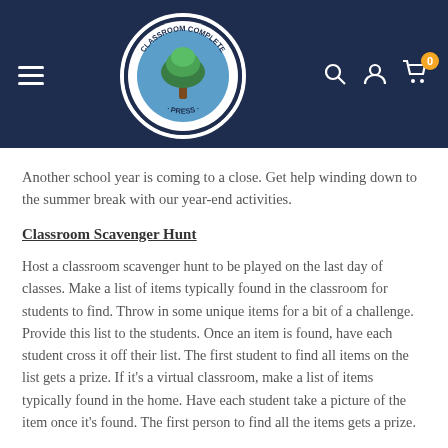[Figure (logo): Classroom Complete Press circular logo with tree illustration on blue background, white border, text around the circle reading CLASSROOM COMPLETE PRESS]
Another school year is coming to a close. Get help winding down to the summer break with our year-end activities.
Classroom Scavenger Hunt
Host a classroom scavenger hunt to be played on the last day of classes. Make a list of items typically found in the classroom for students to find. Throw in some unique items for a bit of a challenge. Provide this list to the students. Once an item is found, have each student cross it off their list. The first student to find all items on the list gets a prize. If it's a virtual classroom, make a list of items typically found in the home. Have each student take a picture of the item once it's found. The first person to find all the items gets a prize.